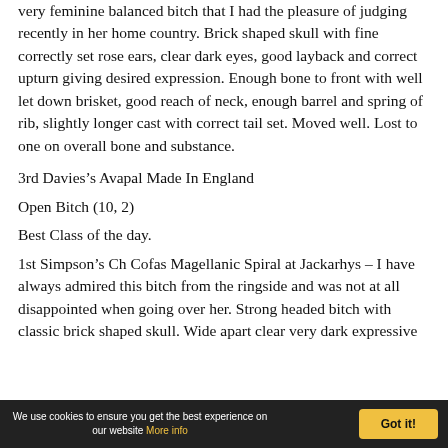very feminine balanced bitch that I had the pleasure of judging recently in her home country. Brick shaped skull with fine correctly set rose ears, clear dark eyes, good layback and correct upturn giving desired expression. Enough bone to front with well let down brisket, good reach of neck, enough barrel and spring of rib, slightly longer cast with correct tail set. Moved well. Lost to one on overall bone and substance.
3rd Davies’s Avapal Made In England
Open Bitch (10, 2)
Best Class of the day.
1st Simpson’s Ch Cofas Magellanic Spiral at Jackarhys – I have always admired this bitch from the ringside and was not at all disappointed when going over her. Strong headed bitch with classic brick shaped skull. Wide apart clear very dark expressive
We use cookies to ensure you get the best experience on our website More info  Got it!